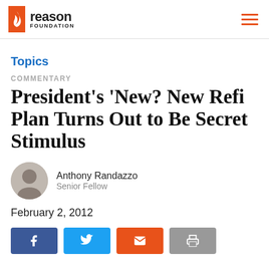Reason Foundation
Topics
COMMENTARY
President’s ‘New?’ New Refi Plan Turns Out to Be Secret Stimulus
Anthony Randazzo
Senior Fellow
February 2, 2012